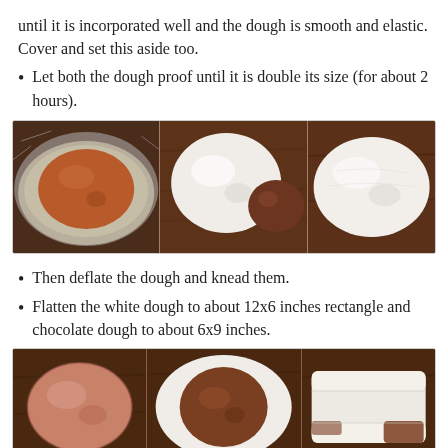until it is incorporated well and the dough is smooth and elastic. Cover and set this aside too.
Let both the dough proof until it is double its size (for about 2 hours).
[Figure (photo): Three-panel food photo: left panel shows a round reddish-brown dough ball in a glass bowl covered with plastic wrap; middle panel shows a white dough ball and a small dark chocolate dough ball on a wooden surface; right panel shows a flattened white dough oval on a wooden surface.]
Then deflate the dough and knead them.
Flatten the white dough to about 12x6 inches rectangle and chocolate dough to about 6x9 inches.
[Figure (photo): Three-panel food photo: left panel shows a flattened pinkish-brown oval dough on dark wood; middle panel shows the chocolate dough placed on top of the white dough oval; right panel shows the white dough folded over the chocolate dough, forming a package.]